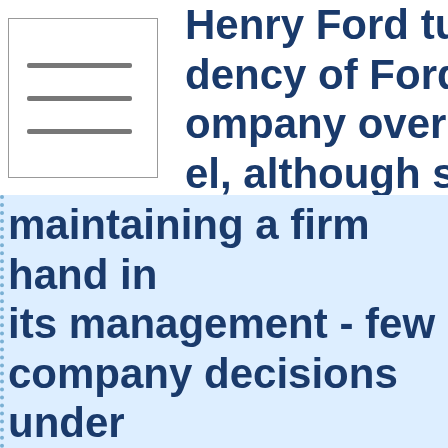[Figure (other): Hamburger menu icon — three horizontal grey lines inside a white rectangle with border]
Henry Ford turned the presidency of Ford Motor Company over to his son Edsel, although still maintaining a firm hand in its management - few company decisions under Edsel's presidency were made without approval by Henry, and those few that were, Henry often